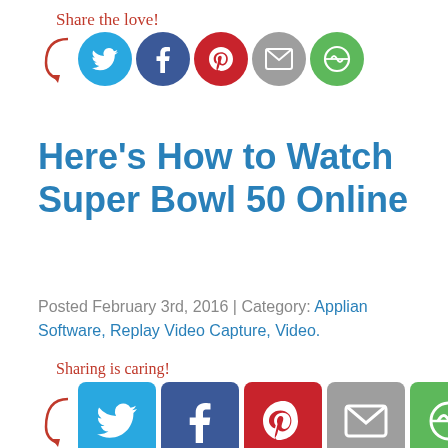[Figure (infographic): Share the love! label with red arrow and five social share circular icons: Twitter (blue), Facebook (dark blue), Pinterest (red), Email (grey), More (green)]
Here’s How to Watch Super Bowl 50 Online
Posted February 3rd, 2016 | Category: Applian Software, Replay Video Capture, Video.
[Figure (infographic): Sharing is caring! label with red arrow and five social share square icons: Twitter (blue), Facebook (dark blue), Pinterest (red), Email (grey), More (green)]